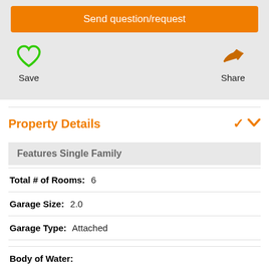Send question/request
Save
Share
Property Details
Features Single Family
Total # of Rooms:  6
Garage Size:  2.0
Garage Type:  Attached
Body of Water: